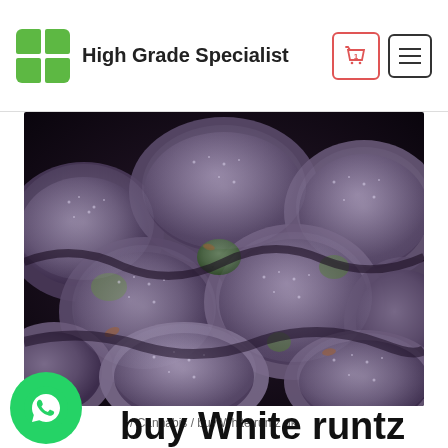High Grade Specialist
[Figure (photo): Close-up photograph of purple/green cannabis buds (White Runtz strain) densely packed together with visible trichomes]
Home / Cannabis / buy White runtz uk
buy White runtz uk